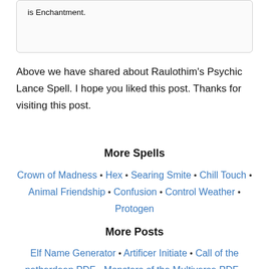is Enchantment.
Above we have shared about Raulothim's Psychic Lance Spell. I hope you liked this post. Thanks for visiting this post.
More Spells
Crown of Madness • Hex • Searing Smite • Chill Touch • Animal Friendship • Confusion • Control Weather • Protogen
More Posts
Elf Name Generator • Artificer Initiate • Call of the netherdeen PDF • Monsters of the Multiverse PDF •